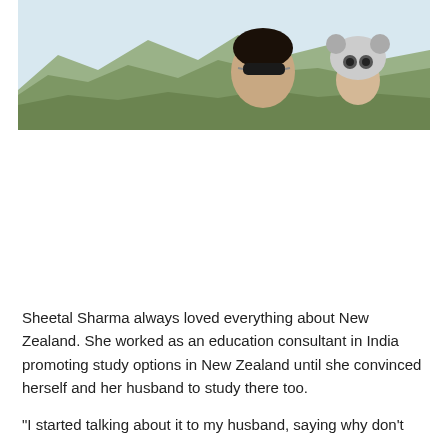[Figure (photo): A man wearing sunglasses and a child wearing an animal costume hat, photographed outdoors against a mountain landscape background.]
Sheetal Sharma always loved everything about New Zealand. She worked as an education consultant in India promoting study options in New Zealand until she convinced herself and her husband to study there too.
“I started talking about it to my husband, saying why don’t